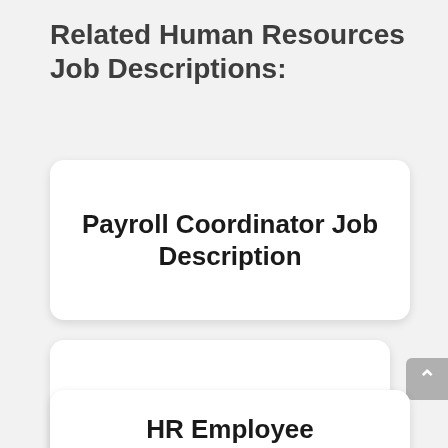Related Human Resources Job Descriptions:
Payroll Coordinator Job Description
Benefits Assistant Job Description
HR Employee